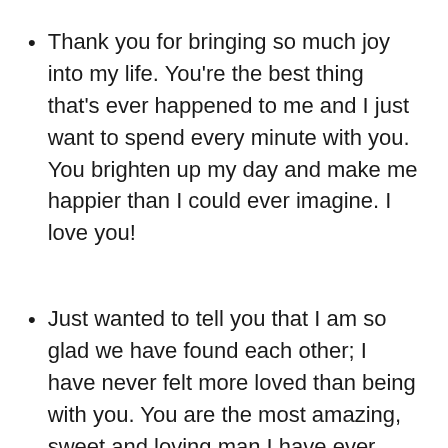Thank you for bringing so much joy into my life. You’re the best thing that’s ever happened to me and I just want to spend every minute with you. You brighten up my day and make me happier than I could ever imagine. I love you!
Just wanted to tell you that I am so glad we have found each other; I have never felt more loved than being with you. You are the most amazing, sweet and loving man I have ever known. Thank you for everything you do for me! We will have a long happy life